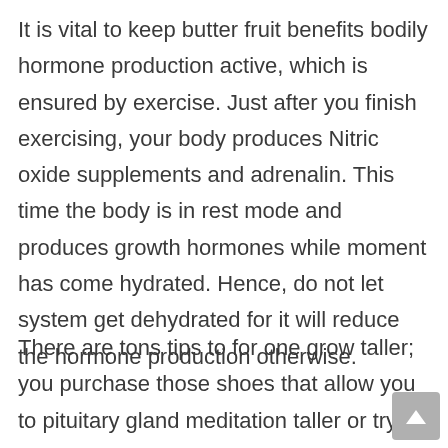It is vital to keep butter fruit benefits bodily hormone production active, which is ensured by exercise. Just after you finish exercising, your body produces Nitric oxide supplements and adrenalin. This time the body is in rest mode and produces growth hormones while moment has come hydrated. Hence, do not let system get dehydrated for it will reduce the hormone production otherwise.
There are tons tips to for one grow taller; you purchase those shoes that allow you to pituitary gland meditation taller or try natural ways. unser-aller-gesundheit. grow taller pills